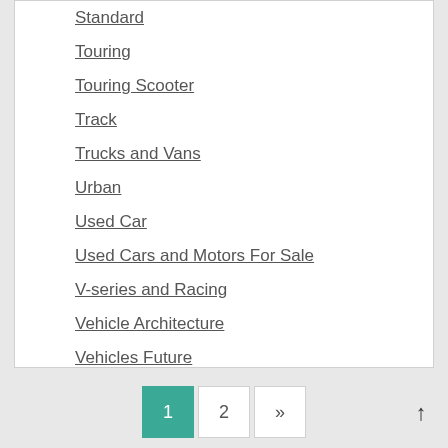Standard
Touring
Touring Scooter
Track
Trucks and Vans
Urban
Used Car
Used Cars and Motors For Sale
V-series and Racing
Vehicle Architecture
Vehicles Future
1 2 »